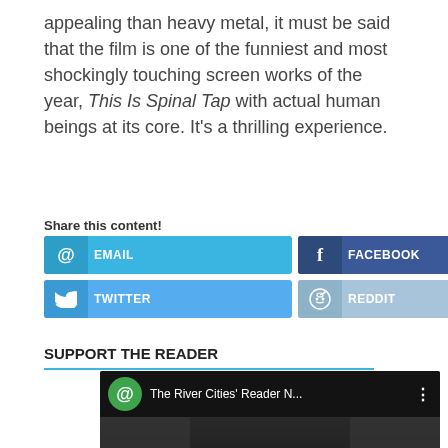appealing than heavy metal, it must be said that the film is one of the funniest and most shockingly touching screen works of the year, This Is Spinal Tap with actual human beings at its core. It's a thrilling experience.
Share this content!
[Figure (infographic): Social share buttons: EMAIL, FACEBOOK, LINKEDIN (row 1); TWITTER, REDDIT (row 2)]
SUPPORT THE READER
[Figure (screenshot): YouTube video embed showing 'The River Cities' Reader N...' channel with play button overlay and dark background]